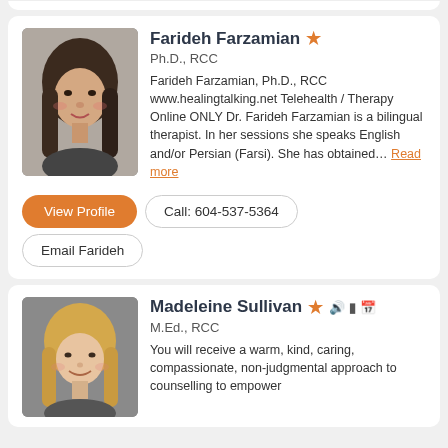[Figure (photo): Profile photo of Farideh Farzamian, a woman with long dark hair]
Farideh Farzamian
Ph.D., RCC
Farideh Farzamian, Ph.D., RCC www.healingtalking.net Telehealth / Therapy Online ONLY Dr. Farideh Farzamian is a bilingual therapist. In her sessions she speaks English and/or Persian (Farsi). She has obtained... Read more
View Profile
Call: 604-537-5364
Email Farideh
[Figure (photo): Profile photo of Madeleine Sullivan, a woman with blonde hair]
Madeleine Sullivan
M.Ed., RCC
You will receive a warm, kind, caring, compassionate, non-judgmental approach to counselling to empower